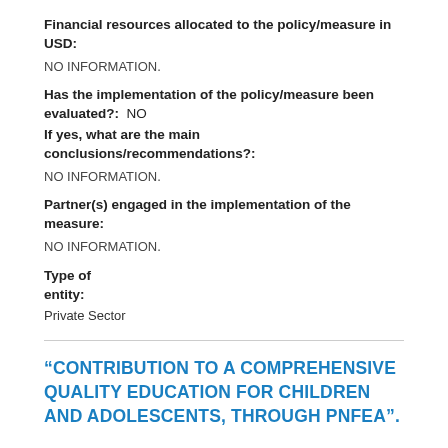Financial resources allocated to the policy/measure in USD:
NO INFORMATION.
Has the implementation of the policy/measure been evaluated?:  NO
If yes, what are the main conclusions/recommendations?:
NO INFORMATION.
Partner(s) engaged in the implementation of the measure:
NO INFORMATION.
Type of entity:
Private Sector
“CONTRIBUTION TO A COMPREHENSIVE QUALITY EDUCATION FOR CHILDREN AND ADOLESCENTS, THROUGH PNFEA”.